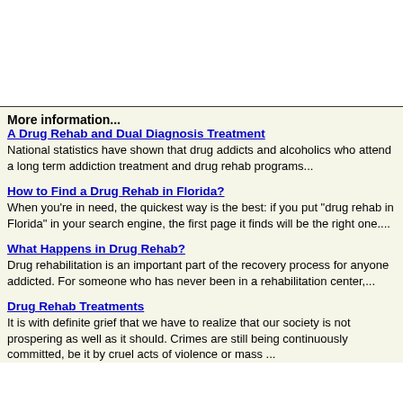More information...
A Drug Rehab and Dual Diagnosis Treatment
National statistics have shown that drug addicts and alcoholics who attend a long term addiction treatment and drug rehab programs...
How to Find a Drug Rehab in Florida?
When you're in need, the quickest way is the best: if you put "drug rehab in Florida" in your search engine, the first page it finds will be the right one....
What Happens in Drug Rehab?
Drug rehabilitation is an important part of the recovery process for anyone addicted. For someone who has never been in a rehabilitation center,...
Drug Rehab Treatments
It is with definite grief that we have to realize that our society is not prospering as well as it should. Crimes are still being continuously committed, be it by cruel acts of violence or mass ...